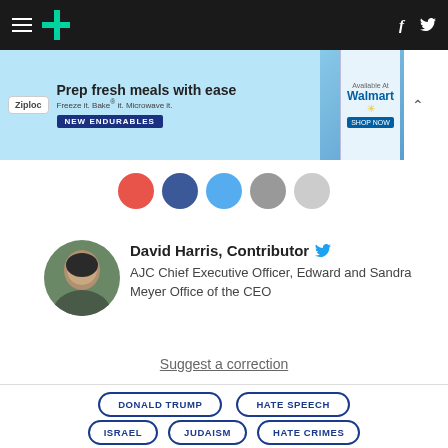HuffPost navigation bar with hamburger menu, logo, Facebook and Twitter icons
[Figure (photo): Ziploc advertisement banner: 'Prep fresh meals with ease. Freeze it. Bake it. Microwave it. NEW ENDURABLES. Available At Walmart']
[Figure (infographic): Social share buttons: red, navy blue, light blue, gray, and light gray circles]
[Figure (photo): Circular headshot of David Harris, a man in a suit smiling]
David Harris, Contributor
AJC Chief Executive Officer, Edward and Sandra Meyer Office of the CEO
Suggest a correction
DONALD TRUMP
HATE SPEECH
ISRAEL
JUDAISM
HATE CRIMES